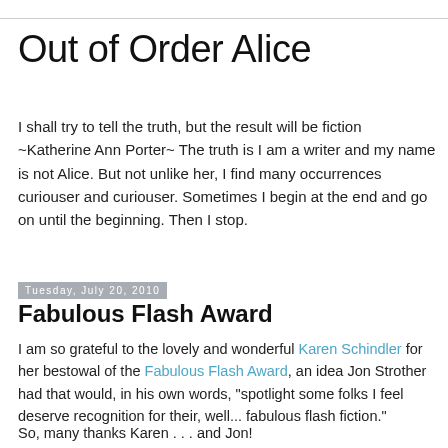Out of Order Alice
I shall try to tell the truth, but the result will be fiction ~Katherine Ann Porter~ The truth is I am a writer and my name is not Alice. But not unlike her, I find many occurrences curiouser and curiouser. Sometimes I begin at the end and go on until the beginning. Then I stop.
Tuesday, July 20, 2010
Fabulous Flash Award
I am so grateful to the lovely and wonderful Karen Schindler for her bestowal of the Fabulous Flash Award, an idea Jon Strother had that would, in his own words, "spotlight some folks I feel deserve recognition for their, well... fabulous flash fiction."
So, many thanks Karen . . . and Jon!